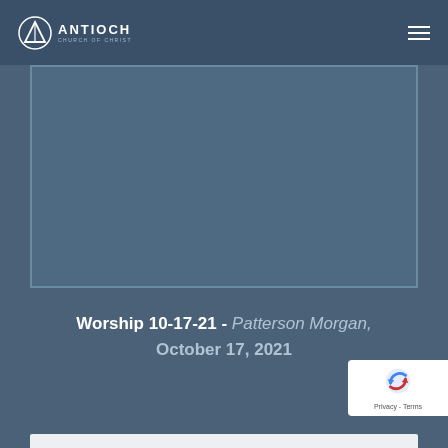Antioch Church of Christ
[Figure (other): Embedded video player area with blue-grey background, showing a church worship service recording]
Worship 10-17-21 - Patterson Morgan, October 17, 2021
[Figure (other): reCAPTCHA badge with Google logo showing shield icon and Privacy - Terms text]